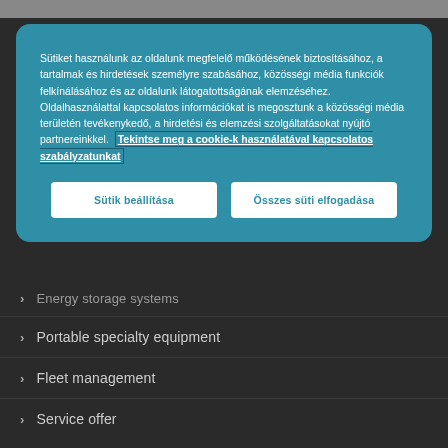Sütiket használunk az oldalunk megfelelő működésének biztosításához, a tartalmak és hirdetések személyre szabásához, közösségi média funkciók felkínálásához és az oldalunk látogatottságának elemzéséhez. Oldalhasználattal kapcsolatos információkat is megosztunk a közösségi média területén tevékenykedő, a hirdetési és elemzési szolgáltatásokat nyújtó partnereinkkel. Tekintse meg a cookie-k használatával kapcsolatos szabályzatunkat
Sütik beállítása
Összes süti elfogadása
Energy storage systems
Portable specialty equipment
Fleet management
Service offer